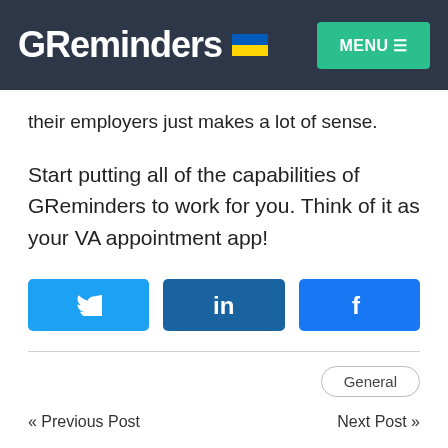GReminders MENU
their employers just makes a lot of sense.
Start putting all of the capabilities of GReminders to work for you. Think of it as your VA appointment app!
[Figure (other): Social share buttons: Twitter, LinkedIn, Facebook]
General
« Previous Post   Next Post »